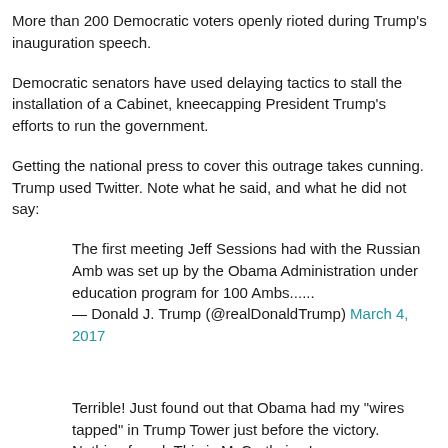More than 200 Democratic voters openly rioted during Trump's inauguration speech.
Democratic senators have used delaying tactics to stall the installation of a Cabinet, kneecapping President Trump's efforts to run the government.
Getting the national press to cover this outrage takes cunning. Trump used Twitter. Note what he said, and what he did not say:
The first meeting Jeff Sessions had with the Russian Amb was set up by the Obama Administration under education program for 100 Ambs...... — Donald J. Trump (@realDonaldTrump) March 4, 2017
Terrible! Just found out that Obama had my "wires tapped" in Trump Tower just before the victory. Nothing found. This is McCarthyism!